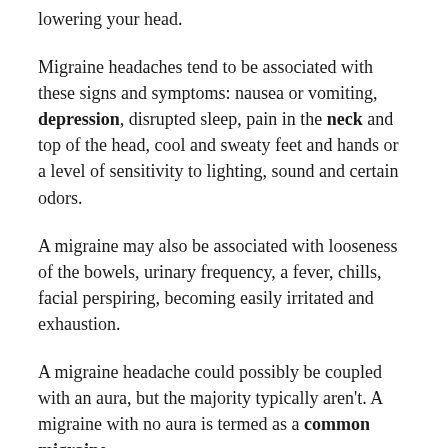lowering your head.
Migraine headaches tend to be associated with these signs and symptoms: nausea or vomiting, depression, disrupted sleep, pain in the neck and top of the head, cool and sweaty feet and hands or a level of sensitivity to lighting, sound and certain odors.
A migraine may also be associated with looseness of the bowels, urinary frequency, a fever, chills, facial perspiring, becoming easily irritated and exhaustion.
A migraine headache could possibly be coupled with an aura, but the majority typically aren't. A migraine with no aura is termed as a common migraine.
The...